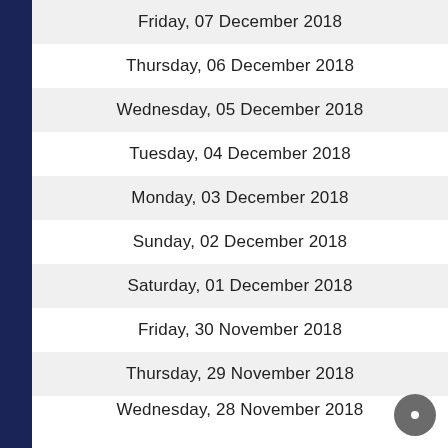Friday, 07 December 2018
Thursday, 06 December 2018
Wednesday, 05 December 2018
Tuesday, 04 December 2018
Monday, 03 December 2018
Sunday, 02 December 2018
Saturday, 01 December 2018
Friday, 30 November 2018
Thursday, 29 November 2018
Wednesday, 28 November 2018